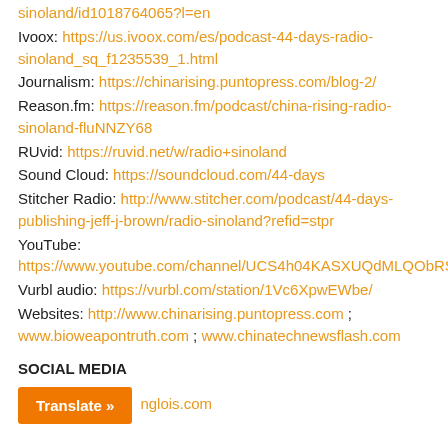sinoland/id1018764065?l=en
Ivoox: https://us.ivoox.com/es/podcast-44-days-radio-sinoland_sq_f1235539_1.html
Journalism: https://chinarising.puntopress.com/blog-2/
Reason.fm: https://reason.fm/podcast/china-rising-radio-sinoland-fluNNZY68
RUvid: https://ruvid.net/w/radio+sinoland
Sound Cloud: https://soundcloud.com/44-days
Stitcher Radio: http://www.stitcher.com/podcast/44-days-publishing-jeff-j-brown/radio-sinoland?refid=stpr
YouTube: https://www.youtube.com/channel/UCS4h04KASXUQdMLQObRSCNA
Vurbl audio: https://vurbl.com/station/1Vc6XpwEWbe/
Websites: http://www.chinarising.puntopress.com ; www.bioweapontruth.com ; www.chinatechnewsflash.com
SOCIAL MEDIA
Translate » nglois.com